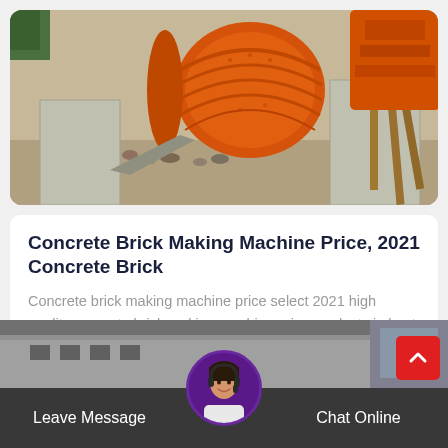[Figure (photo): Construction site photo showing orange concrete mixer/drum machine and concrete formwork with debris]
Concrete Brick Making Machine Price, 2021 Concrete Brick
Concrete brick making machine price select 2021 high quality concrete brick making machine price products in best price from…
[Figure (photo): Bottom partial photo of a building/brick structure in grey tones]
[Figure (photo): Customer service avatar - woman with headset]
Leave Message   Chat Online